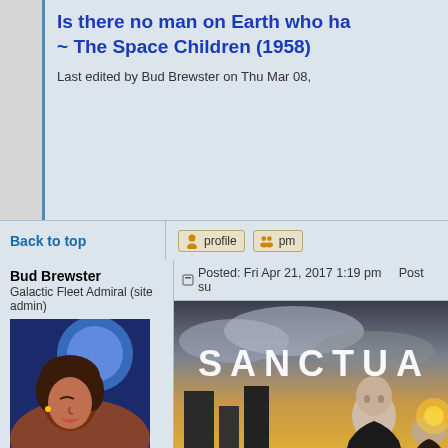Is there no man on Earth who ha~ The Space Children (1958)
Last edited by Bud Brewster on Thu Mar 08,
Back to top
profile   pm
Bud Brewster
Galactic Fleet Admiral (site admin)
[Figure (photo): Avatar photo of a woman with eyes closed, with glowing blue/orange artistic lighting]
Joined: 14 Dec 2013
Posts: 15268
Location: North Carolina
Posted: Fri Apr 21, 2017 1:19 pm    Post su
[Figure (photo): Sanctuary TV show promotional image with bald man in leather jacket, text SANCTUA visible, cityscape background with dramatic sky]